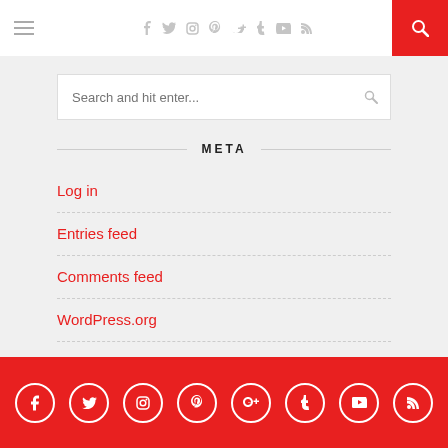Navigation header with hamburger menu, social icons, and search button
[Figure (screenshot): Search box with placeholder text 'Search and hit enter...' and a search icon]
META
Log in
Entries feed
Comments feed
WordPress.org
Social media icons: facebook, twitter, instagram, pinterest, google+, tumblr, youtube, rss